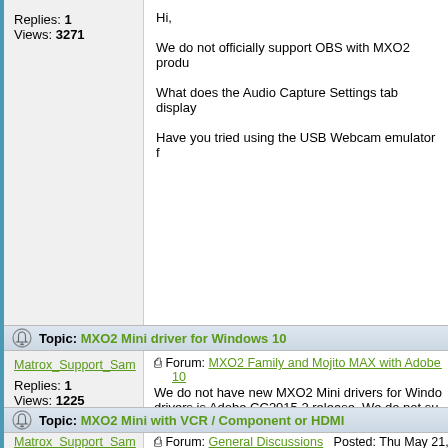Replies: 1
Views: 3271
Hi,

We do not officially support OBS with MXO2 produ...

What does the Audio Capture Settings tab display...

Have you tried using the USB Webcam emulator f...
Topic: MXO2 Mini driver for Windows 10
Matrox_Support_Sam
Forum: MXO2 Family and Mojito MAX with Adobe CC ...
Replies: 1
Views: 1225
We do not have new MXO2 Mini drivers for Windo... drivers is Adobe CC2015.2 release. We do not su...
Topic: MXO2 Mini with VCR / Component or HDMI
Matrox_Support_Sam
Forum: General Discussions   Posted: Thu May 21, 202...
Replies: 2
Views: 4848
This behavior is usually indicative of copy protecte...
Topic: Can't downloading driver/software: no permission
Matrox_Support_Sam
Forum: MXO2 Family and Mojito MAX with Final Cut S... downloading driver/software: no permission
Replies: 3
Views: 9186
Thanks for the update.
Topic: Can't downloading driver/software: no permission